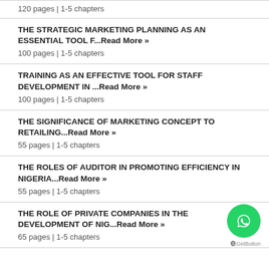120 pages | 1-5 chapters
THE STRATEGIC MARKETING PLANNING AS AN ESSENTIAL TOOL F...Read More »
100 pages | 1-5 chapters
TRAINING AS AN EFFECTIVE TOOL FOR STAFF DEVELOPMENT IN ...Read More »
100 pages | 1-5 chapters
THE SIGNIFICANCE OF MARKETING CONCEPT TO RETAILING...Read More »
55 pages | 1-5 chapters
THE ROLES OF AUDITOR IN PROMOTING EFFICIENCY IN NIGERIA...Read More »
55 pages | 1-5 chapters
THE ROLE OF PRIVATE COMPANIES IN THE DEVELOPMENT OF NIG...Read More »
65 pages | 1-5 chapters